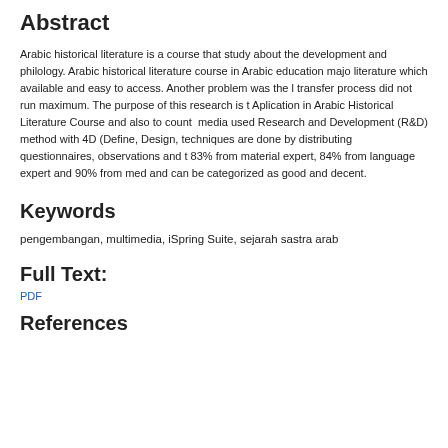Abstract
Arabic historical literature is a course that study about the development and philology. Arabic historical literature course in Arabic education major literature which available and easy to access. Another problem was the transfer process did not run maximum. The purpose of this research is Aplication in Arabic Historical Literature Course and also to count media used Research and Development (R&D) method with 4D (Define, Design techniques are done by distributing questionnaires, observations and t 83% from material expert, 84% from language expert and 90% from med and can be categorized as good and decent.
Keywords
pengembangan, multimedia, iSpring Suite, sejarah sastra arab
Full Text:
PDF
References